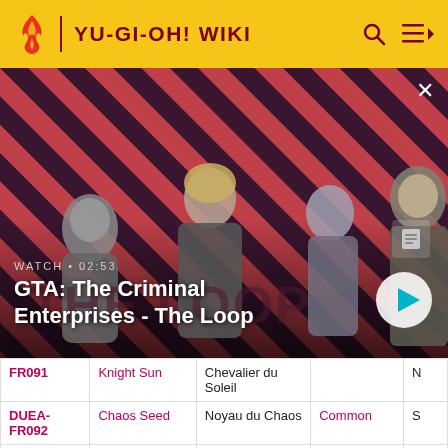YU-GI-OH! WIKI
[Figure (screenshot): GTA: The Criminal Enterprises - The Loop video banner with characters on diagonal striped red/dark background. Shows WATCH • 02:53 and a play button.]
| ID | English Name | French Name | Rarity |  |
| --- | --- | --- | --- | --- |
| FR091 | Knight Sun | Chevalier du Soleil |  | N |
| DUEA-FR092 | Chaos Seed | Noyau du Chaos | Common | S |
| DUEA- | Exchange of | Échange de | Common | C |